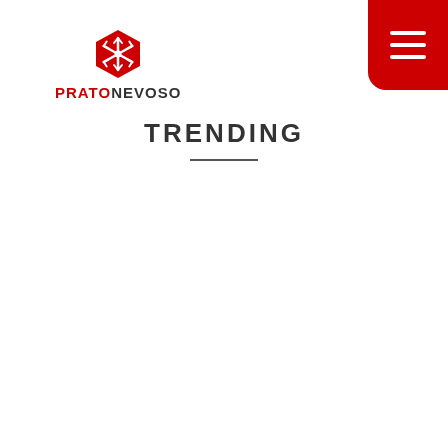[Figure (logo): Prato Nevoso logo: red hexagon with snowflake icon above the text PRATONEVOSO in bold, PRATO in red and NEVOSO in dark grey]
[Figure (other): Red rounded rectangle hamburger menu button in the top-right corner with three white horizontal lines]
TRENDING